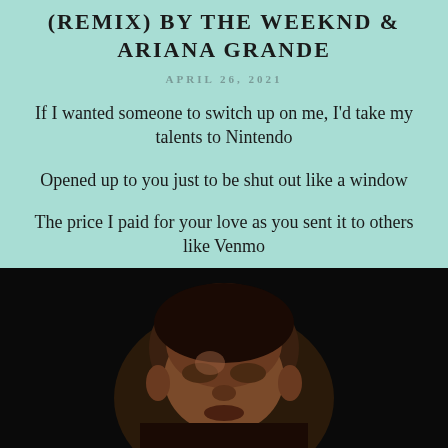(REMIX) BY THE WEEKND & ARIANA GRANDE
APRIL 26, 2021
If I wanted someone to switch up on me, I'd take my talents to Nintendo
Opened up to you just to be shut out like a window
The price I paid for your love as you sent it to others like Venmo
[Figure (photo): Close-up photo of a person's face in dark lighting, viewed from slightly below, against a black background]